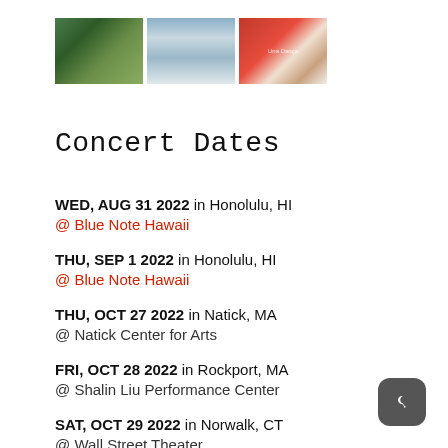[Figure (photo): Three thumbnail photos in a row: a scenic outdoor/nature image with green trees, a misty/rainy landscape in grey-blue tones, and an album cover with a red circle and candle.]
Concert Dates
WED, AUG 31 2022 in Honolulu, HI
@ Blue Note Hawaii
THU, SEP 1 2022 in Honolulu, HI
@ Blue Note Hawaii
THU, OCT 27 2022 in Natick, MA
@ Natick Center for Arts
FRI, OCT 28 2022 in Rockport, MA
@ Shalin Liu Performance Center
SAT, OCT 29 2022 in Norwalk, CT
@ Wall Street Theater
SUN, OCT 30 2022 in Newark, NJ